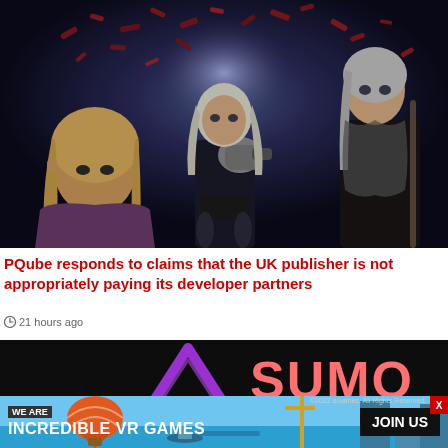[Figure (photo): Video game screenshot showing three fantasy/RPG characters in an action scene with dark atmospheric background, scattered crimson fragments/feathers]
PQube responds to claims that the UK publisher is not appropriately paying its developer partners
21 hours ago
[Figure (logo): Sumo Digital logo on dark background - purple triangle/chevron logo mark with 'SUMO' text in large salmon/coral pink letters]
[Figure (infographic): Advertisement banner: WE ARE / INCREDIBLE VR GAMES with colorful game scene background and JOIN US button on right. Close X button top right.]